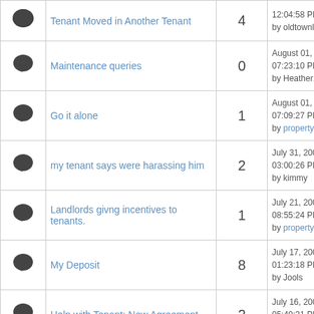|  | Topic | Replies | Last Post |
| --- | --- | --- | --- |
| [icon] | Tenant Moved in Another Tenant | 4 | 12:04:58 PM
by oldtownlettings |
| [icon] | Maintenance queries | 0 | August 01, 2009, 07:23:10 PM
by Heather1234 |
| [icon] | Go it alone | 1 | August 01, 2009, 07:09:27 PM
by propertyfag |
| [icon] | my tenant says were harassing him | 2 | July 31, 2009, 03:00:26 PM
by kimmy |
| [icon] | Landlords givng incentives to tenants. | 1 | July 21, 2009, 08:55:24 PM
by propertyfag |
| [icon] | My Deposit | 8 | July 17, 2009, 01:23:18 PM
by Jools |
| [icon] | Help with Tenant: New Agreement | 2 | July 16, 2009, 05:40:31 PM
by Jools |
| [icon] |  |  | July 01, 2009, ... |